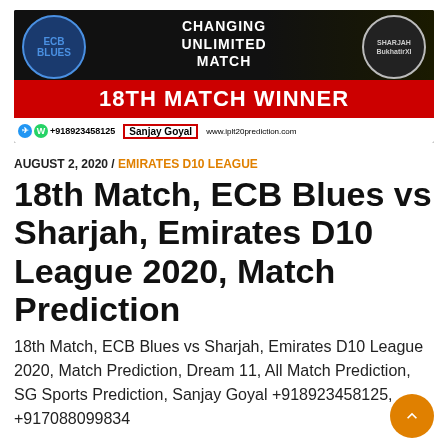[Figure (photo): Banner image for 18th Match Winner prediction: ECB Blues vs Sharjah Bukhatir XI, with red bar reading '18TH MATCH WINNER', contact info +918923458125, name Sanjay Goyal, website www.iplt20prediction.com]
AUGUST 2, 2020 / EMIRATES D10 LEAGUE
18th Match, ECB Blues vs Sharjah, Emirates D10 League 2020, Match Prediction
18th Match, ECB Blues vs Sharjah, Emirates D10 League 2020, Match Prediction, Dream 11, All Match Prediction, SG Sports Prediction, Sanjay Goyal +918923458125, +917088099834